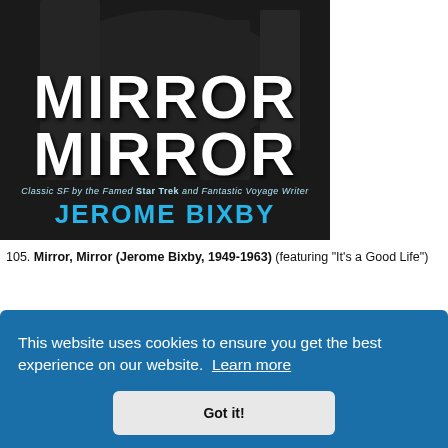[Figure (illustration): Book cover of 'Mirror Mirror' by Jerome Bixby. Dark background with large bold white 'MIRROR MIRROR' text, subtitle 'Classic SF by the Famed Star Trek and Fantastic Voyage Writer', author name in blue bold text.]
105. Mirror, Mirror (Jerome Bixby, 1949-1963) (featuring "It's a Good Life")
Collected in this volume are the best stories from one of the most influential ... more ... Zone and ... an from ... s on the ...
This website uses cookies to ensure you get the best experience on our website.  Learn more
Got it!
his bunch, adapted into one of the most well-regarded Twilight Zone episodes out there, as well as adapted again by Joe Dante for the Twilight Zone...